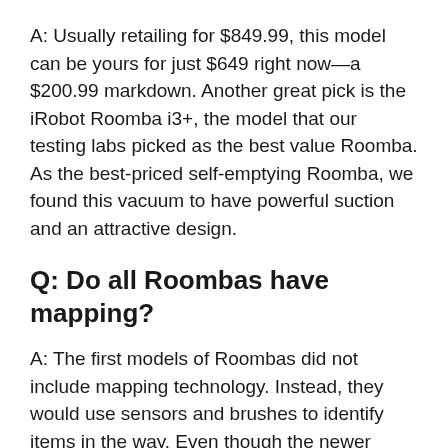A: Usually retailing for $849.99, this model can be yours for just $649 right now—a $200.99 markdown. Another great pick is the iRobot Roomba i3+, the model that our testing labs picked as the best value Roomba. As the best-priced self-emptying Roomba, we found this vacuum to have powerful suction and an attractive design.
Q: Do all Roombas have mapping?
A: The first models of Roombas did not include mapping technology. Instead, they would use sensors and brushes to identify items in the way. Even though the newer models of Roomba include mapping, they are not all equal in what they can accomplish.